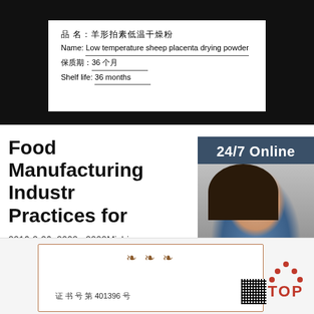[Figure (photo): Product label on white background against black background. Shows Chinese text '品名：羊形拍素低温干燥粉', 'Name: Low temperature sheep placenta drying powder', '保质期：36个月', 'Shelf life: 36 months']
Food Manufacturing Industry Practices for
2016-2-26u2002·u2002Michigan Department of Agriculture and Rural Development Food Manufacturing Industry Practices for Controlling Salmonella September ... This information is a combination of industry best practices and regulations in place to control
[Figure (photo): Online chat widget showing a female customer service agent wearing headset with '24/7 Online' banner, 'Click here for free chat!' text, and orange QUOTATION button]
Get Price
[Figure (photo): Certificate card with ornamental border showing certificate number '证书号第401396号' with QR code and logo. VIP watermark visible. Orange/red TOP logo in upper right.]